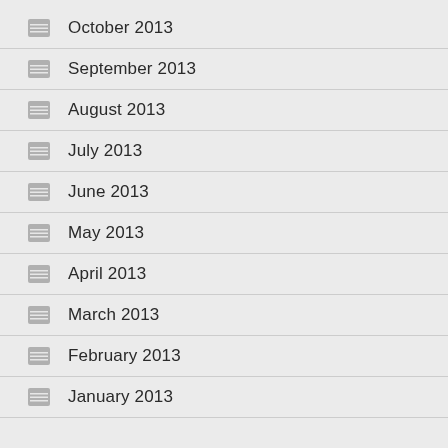October 2013
September 2013
August 2013
July 2013
June 2013
May 2013
April 2013
March 2013
February 2013
January 2013